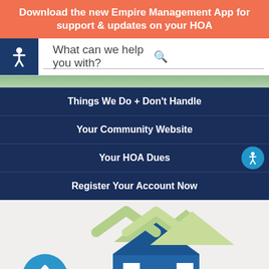Download the new Empire Management App for support & updates on your HOA
What can we help you with?
Things We Do + Don’t Handle
Your Community Website
Your HOA Dues
Register Your Account Now
[Figure (illustration): Home icon illustration with blue house and green roof accents, plus a blue circle with upward chevron arrow in bottom left]